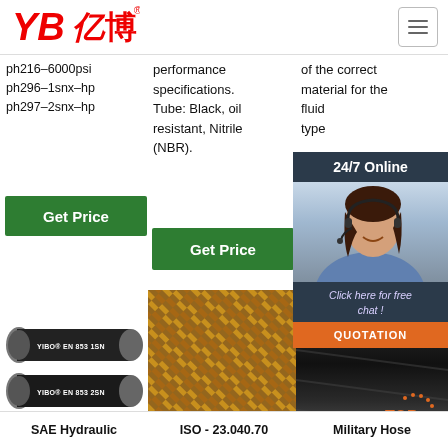[Figure (logo): YB亿博 logo in red with registered trademark symbol]
ph216–6000psi
ph296–1snx–hp
ph297–2snx–hp
performance specifications. Tube: Black, oil resistant, Nitrile (NBR).
of the correct material for the fluid type
Get Price
Get Price
G
[Figure (photo): Two black hydraulic hoses labeled YIBO EN 853 1SN and YIBO EN 853 2SN]
[Figure (photo): Close-up of braided hydraulic hose in tan/gold color]
[Figure (photo): Close-up of black military hydraulic hose]
[Figure (infographic): 24/7 Online chat popup with customer service representative photo, Click here for free chat text, and QUOTATION button]
SAE Hydraulic
ISO - 23.040.70
Military Hose